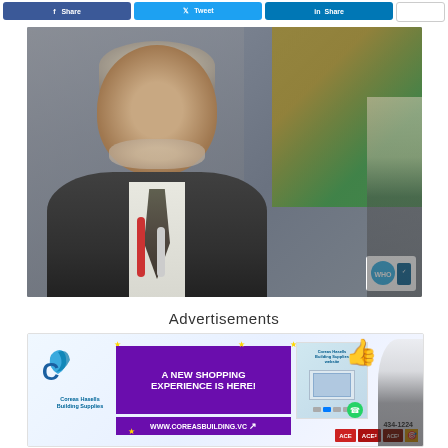[Figure (other): Social media share buttons row: Facebook (blue), Twitter (blue), LinkedIn (blue), and a share count button]
[Figure (photo): Photo of an older man with gray hair and a beard, wearing a dark suit and tie, speaking at a podium with microphones. A green and yellow flag is visible in the background. Another person is partially visible on the right edge.]
Advertisements
[Figure (other): Advertisement banner for Coreas Hasells Building Supplies: 'A NEW SHOPPING EXPERIENCE IS HERE! WWW.COREASBUILDING.VC' with purple background, product images, thumbs-up icon, WhatsApp number 434-1224, and ACE store logos.]